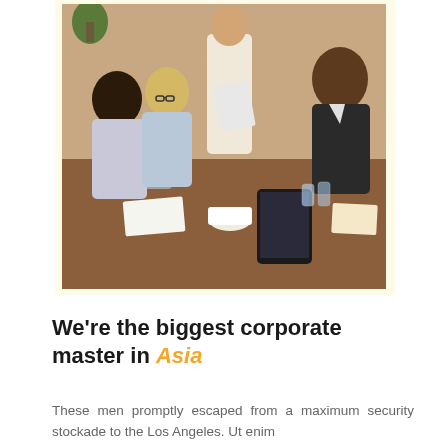[Figure (photo): Business meeting photo showing a group of professionals around a table with laptops, papers, and a standing person presenting documents]
We're the biggest corporate master in Asia
These men promptly escaped from a maximum security stockade to the Los Angeles. Ut enim